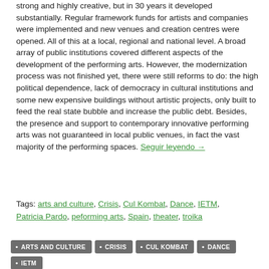strong and highly creative, but in 30 years it developed substantially. Regular framework funds for artists and companies were implemented and new venues and creation centres were opened. All of this at a local, regional and national level. A broad array of public institutions covered different aspects of the development of the performing arts. However, the modernization process was not finished yet, there were still reforms to do: the high political dependence, lack of democracy in cultural institutions and some new expensive buildings without artistic projects, only built to feed the real state bubble and increase the public debt. Besides, the presence and support to contemporary innovative performing arts was not guaranteed in local public venues, in fact the vast majority of the performing spaces. Seguir leyendo →
Tags: arts and culture, Crisis, Cul Kombat, Dance, IETM, Patricia Pardo, peforming arts, Spain, theater, troika
ARTS AND CULTURE
CRISIS
CUL KOMBAT
DANCE
IETM